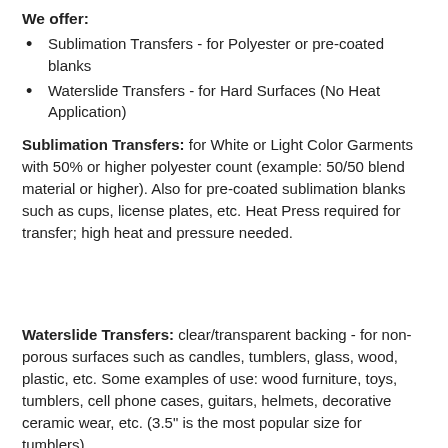We offer:
Sublimation Transfers - for Polyester or pre-coated blanks
Waterslide Transfers - for Hard Surfaces (No Heat Application)
Sublimation Transfers: for White or Light Color Garments with 50% or higher polyester count (example: 50/50 blend material or higher). Also for pre-coated sublimation blanks such as cups, license plates, etc. Heat Press required for transfer; high heat and pressure needed.
Waterslide Transfers: clear/transparent backing - for non-porous surfaces such as candles, tumblers, glass, wood, plastic, etc. Some examples of use: wood furniture, toys, tumblers, cell phone cases, guitars, helmets, decorative ceramic wear, etc. (3.5" is the most popular size for tumblers)
Sheet Sizing Information: